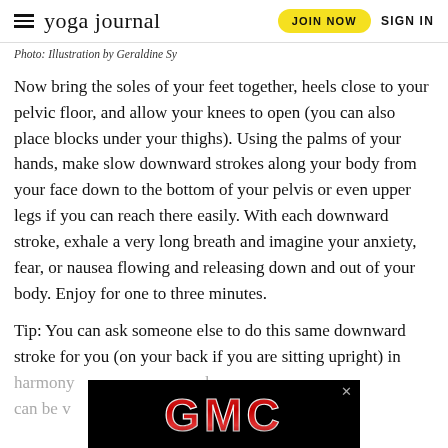yoga journal | JOIN NOW | SIGN IN
Photo: Illustration by Geraldine Sy
Now bring the soles of your feet together, heels close to your pelvic floor, and allow your knees to open (you can also place blocks under your thighs). Using the palms of your hands, make slow downward strokes along your body from your face down to the bottom of your pelvis or even upper legs if you can reach there easily. With each downward stroke, exhale a very long breath and imagine your anxiety, fear, or nausea flowing and releasing down and out of your body. Enjoy for one to three minutes.
Tip: You can ask someone else to do this same downward stroke for you (on your back if you are sitting upright) in harmony [obscured] such can be v[obscured] heaving
[Figure (other): GMC advertisement banner in black background with red metallic GMC logo text]